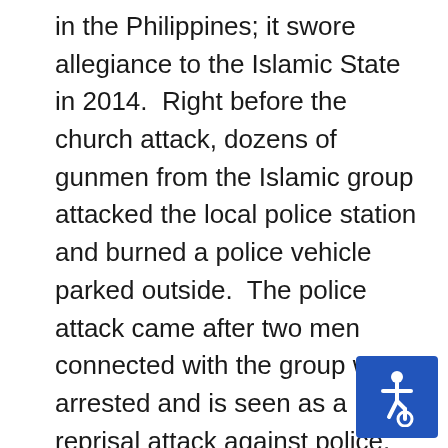in the Philippines; it swore allegiance to the Islamic State in 2014.  Right before the church attack, dozens of gunmen from the Islamic group attacked the local police station and burned a police vehicle parked outside.  The police attack came after two men connected with the group were arrested and is seen as a reprisal attack against police.  Muslim terrorism has been on the rise in the Philippines, the population of which is 86% Christian.  According to the report,
In August [2020], pro-ISIS terrorists blew themselves up in attacks that killed at least 15 people … and injured 80 others in the city of Jolo … in the far south of the country, whose population is
[Figure (illustration): Blue square with white wheelchair accessibility icon]